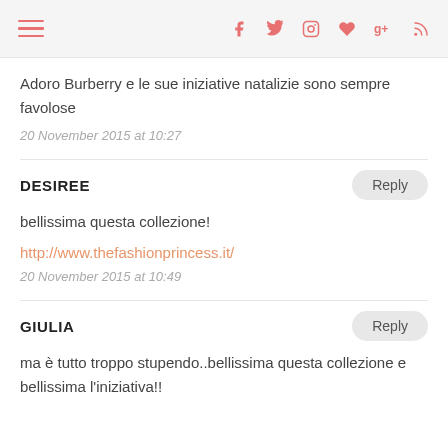Navigation and social icons bar
Adoro Burberry e le sue iniziative natalizie sono sempre favolose
20 November 2015 at 10:27
DESIREE
bellissima questa collezione!
http://www.thefashionprincess.it/
20 November 2015 at 10:49
GIULIA
ma è tutto troppo stupendo..bellissima questa collezione e bellissima l'iniziativa!!